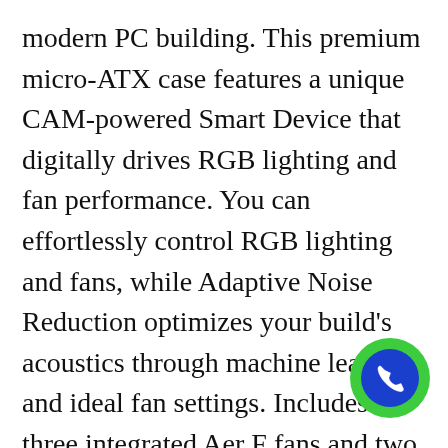modern PC building. This premium micro-ATX case features a unique CAM-powered Smart Device that digitally drives RGB lighting and fan performance. You can effortlessly control RGB lighting and fans, while Adaptive Noise Reduction optimizes your build's acoustics through machine learning and ideal fan settings. Includes three integrated Aer F fans and two RGB LED to enhance the aesthetics of your build as seen through the H400i's stunning tempered glass panel.FeaturesCAM Powered Smart Device to simplify installation and manage use of RGB lighting and fansPremium, all-steel construction with the sleek H-series design; available in color combinationsTempered glass panel showcases custom RGB lightingSystem
[Figure (other): Green and blue circular phone/call button icon in the bottom right corner]